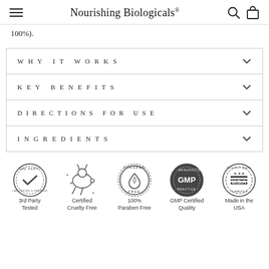Nourishing Biologicals®
100%).
WHY IT WORKS
KEY BENEFITS
DIRECTIONS FOR USE
INGREDIENTS
[Figure (infographic): Five certification badges: 3rd Party Tested (checkmark in circle), Certified Cruelty Free (leaping bunny), 100% Paraben Free (drop with leaf), GMP Certified Quality (GMP seal), Made in the USA (USA badge)]